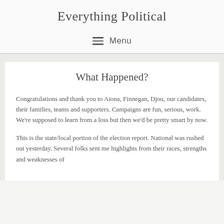Everything Political
≡ Menu
What Happened?
Congratulations and thank you to Aiona, Finnegan, Djou, our candidates, their families, teams and supporters. Campaigns are fun, serious, work.  We're supposed to learn from a loss but then we'd be pretty smart by now.
This is the state/local portion of the election report. National was rushed out yesterday. Several folks sent me highlights from their races, strengths and weaknesses of